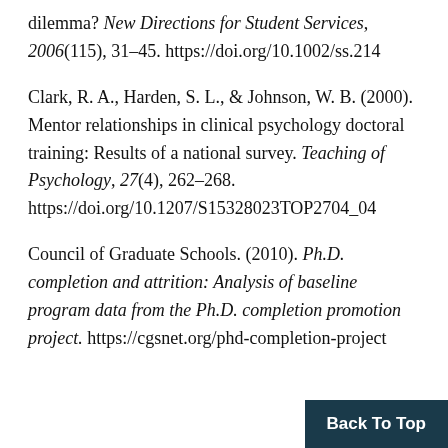dilemma? New Directions for Student Services, 2006(115), 31–45. https://doi.org/10.1002/ss.214
Clark, R. A., Harden, S. L., & Johnson, W. B. (2000). Mentor relationships in clinical psychology doctoral training: Results of a national survey. Teaching of Psychology, 27(4), 262–268. https://doi.org/10.1207/S15328023TOP2704_04
Council of Graduate Schools. (2010). Ph.D. completion and attrition: Analysis of baseline program data from the Ph.D. completion promotion project. https://cgsnet.org/phd-completion-project